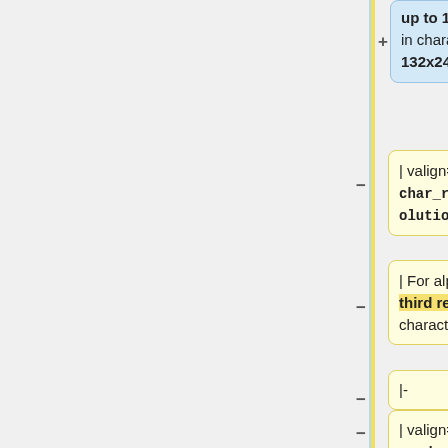up to 10 resolutions of the display in characters are supported, e.g. 132x24
| valign="top" | <code>char_resolution3</code>
| For alphanumeric CRT terminals, a third resolution of the display in characters, i.e. 80x40
|-
| valign="top" | <code>char_resolution4</code>